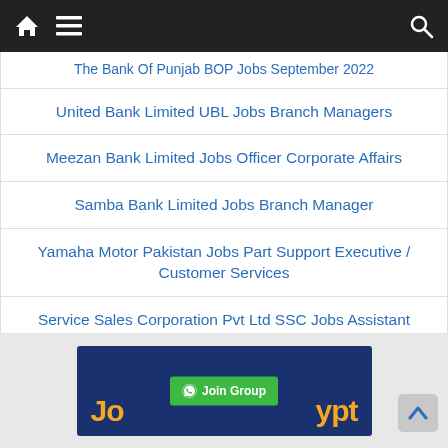Navigation bar with home, menu, and search icons
The Bank Of Punjab BOP Jobs September 2022
United Bank Limited UBL Jobs Branch Managers
Meezan Bank Limited Jobs Officer Corporate Affairs
Samba Bank Limited Jobs Branch Manager
Yamaha Motor Pakistan Jobs Part Support Executive / Customer Services
Service Sales Corporation Pvt Ltd SSC Jobs Assistant District Sales Manager
[Figure (infographic): Banner advertisement with dark blue background showing 'Jo' and 'ypt' in orange text forming 'Joypt', with a green WhatsApp Join Group button in the center]